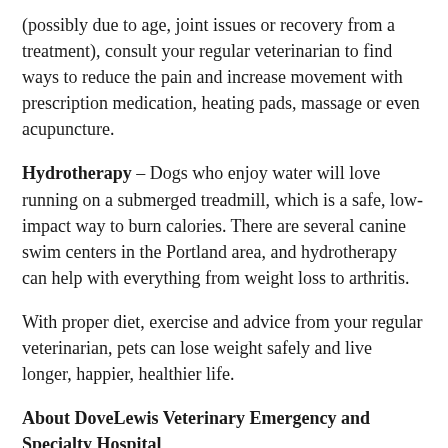(possibly due to age, joint issues or recovery from a treatment), consult your regular veterinarian to find ways to reduce the pain and increase movement with prescription medication, heating pads, massage or even acupuncture.
Hydrotherapy – Dogs who enjoy water will love running on a submerged treadmill, which is a safe, low-impact way to burn calories. There are several canine swim centers in the Portland area, and hydrotherapy can help with everything from weight loss to arthritis.
With proper diet, exercise and advice from your regular veterinarian, pets can lose weight safely and live longer, happier, healthier life.
About DoveLewis Veterinary Emergency and Specialty Hospital
DoveLewis Emergency Animal Hospital, established in 1973 and based in Portland, Oregon, is the only